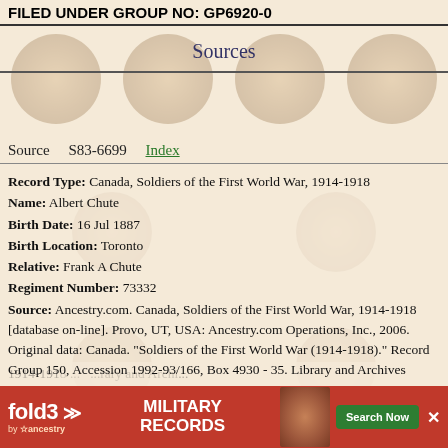FILED UNDER GROUP NO: GP6920-0
Sources
Source   S83-6699   Index
Record Type: Canada, Soldiers of the First World War, 1914-1918
Name: Albert Chute
Birth Date: 16 Jul 1887
Birth Location: Toronto
Relative: Frank A Chute
Regiment Number: 73332
Source: Ancestry.com. Canada, Soldiers of the First World War, 1914-1918 [database on-line]. Provo, UT, USA: Ancestry.com Operations, Inc., 2006. Original data: Canada. "Soldiers of the First World War (1914-1918)." Record Group 150, Accession 1992-93/166, Box 4930 - 35. Library and Archives Canada, Ottawa. Also: Library and Archives Canada; Ottawa, Ontario, Canada; CEF Personnel Files; Reference: RG 150; Volume: Box 1713 - 6. ... 1914-1918 ... Library and Archives Canada
[Figure (infographic): fold3 Military Records advertisement banner in red with Search Now button]